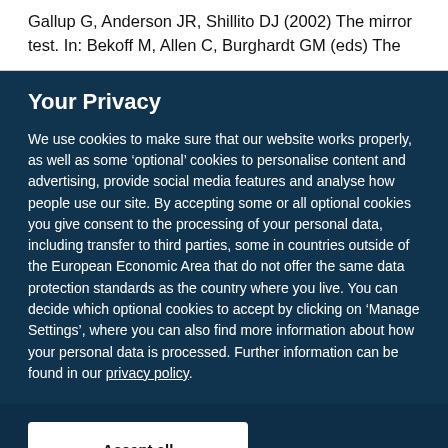Gallup G, Anderson JR, Shillito DJ (2002) The mirror test. In: Bekoff M, Allen C, Burghardt GM (eds) The
Your Privacy
We use cookies to make sure that our website works properly, as well as some ‘optional’ cookies to personalise content and advertising, provide social media features and analyse how people use our site. By accepting some or all optional cookies you give consent to the processing of your personal data, including transfer to third parties, some in countries outside of the European Economic Area that do not offer the same data protection standards as the country where you live. You can decide which optional cookies to accept by clicking on ‘Manage Settings’, where you can also find more information about how your personal data is processed. Further information can be found in our privacy policy.
Accept all cookies
Manage preferences